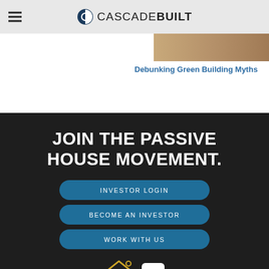CASCADE BUILT
[Figure (screenshot): Partial article thumbnail image in tan/brown color]
Debunking Green Building Myths
JOIN THE PASSIVE HOUSE MOVEMENT.
INVESTOR LOGIN
BECOME AN INVESTOR
WORK WITH US
[Figure (logo): Passive House (PH) icon in gold/yellow and LinkedIn 'in' icon in white]